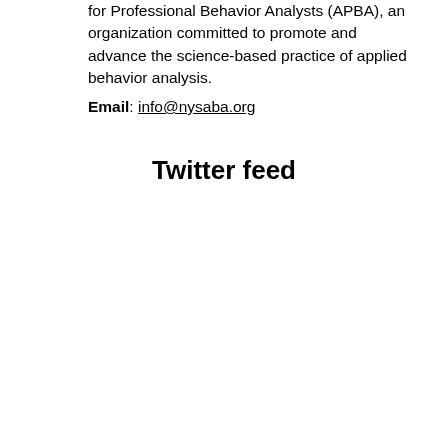for Professional Behavior Analysts (APBA), an organization committed to promote and advance the science-based practice of applied behavior analysis.
Email: info@nysaba.org
Twitter feed